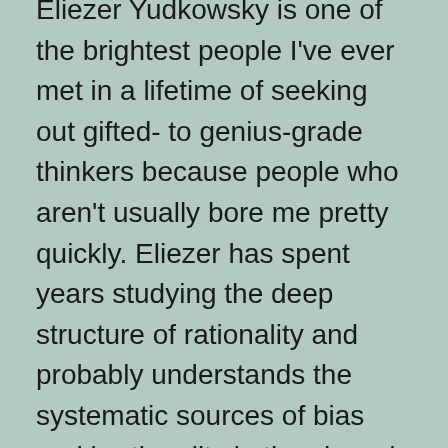Eliezer Yudkowsky is one of the brightest people I've ever met in a lifetime of seeking out gifted- to genius-grade thinkers because people who aren't usually bore me pretty quickly. Eliezer has spent years studying the deep structure of rationality and probably understands the systematic sources of bias and irrationality in the shared architecture of the human mind as comprehensively as anyone alive. I have previously commented on some of his writings.
Usually Eliezer thinks about questions like how to build human-compatible ethical reasoning